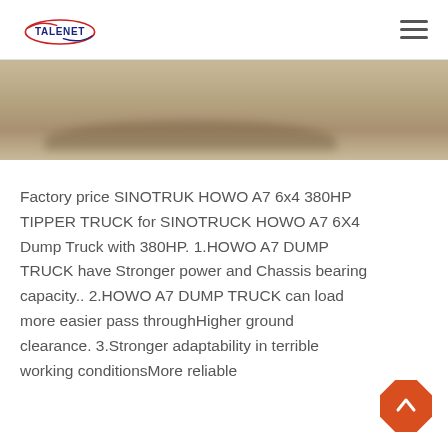TALENET
[Figure (photo): Partial photo of a SINOTRUK HOWO dump truck on a dirt/sandy surface, showing the lower portion of the truck body and surrounding ground.]
Factory price SINOTRUK HOWO A7 6x4 380HP TIPPER TRUCK for SINOTRUCK HOWO A7 6X4 Dump Truck with 380HP. 1.HOWO A7 DUMP TRUCK have Stronger power and Chassis bearing capacity.. 2.HOWO A7 DUMP TRUCK can load more easier pass throughHigher ground clearance. 3.Stronger adaptability in terrible working conditionsMore reliable